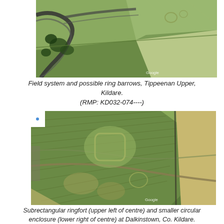[Figure (photo): Aerial/satellite view of field system and possible ring barrows at Tippeenan Upper, Kildare. Shows agricultural fields with visible crop marks and curved road feature at top left. Google watermark visible.]
Field system and possible ring barrows, Tippeenan Upper, Kildare. (RMP: KD032-074----)
[Figure (photo): Aerial/satellite view showing subrectangular ringfort (upper left of centre) and smaller circular enclosure (lower right of centre) at Dalkinstown, Co. Kildare. Crop marks visible in green agricultural fields. Google watermark visible. Image has white corner fold at top left.]
Subrectangular ringfort (upper left of centre) and smaller circular enclosure (lower right of centre) at Dalkinstown, Co. Kildare. KD032-884---- and KD032-007...